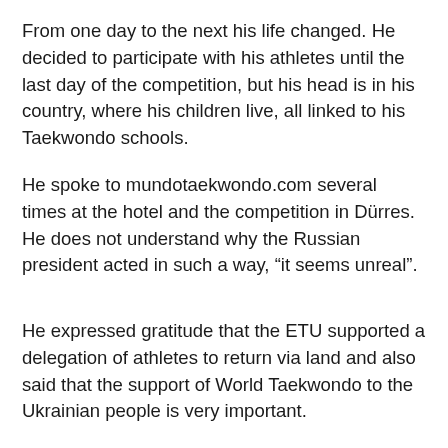From one day to the next his life changed. He decided to participate with his athletes until the last day of the competition, but his head is in his country, where his children live, all linked to his Taekwondo schools.
He spoke to mundotaekwondo.com several times at the hotel and the competition in Dürres. He does not understand why the Russian president acted in such a way, “it seems unreal”.
He expressed gratitude that the ETU supported a delegation of athletes to return via land and also said that the support of World Taekwondo to the Ukrainian people is very important.